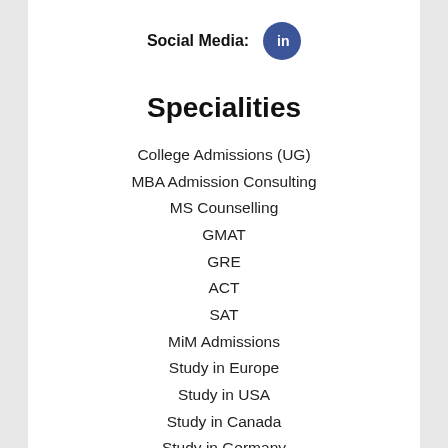Social Media:
Specialities
College Admissions (UG)
MBA Admission Consulting
MS Counselling
GMAT
GRE
ACT
SAT
MiM Admissions
Study in Europe
Study in USA
Study in Canada
Study in Germany
Study Visa & Immigration